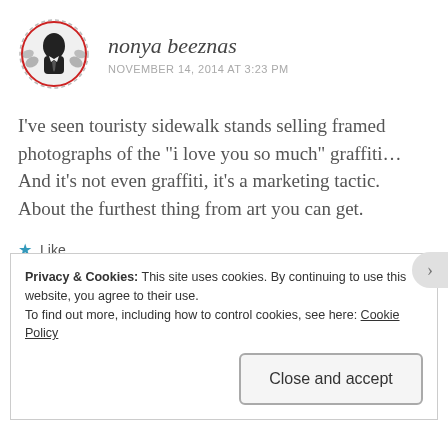[Figure (illustration): Circular avatar with dashed border showing an Anonymous-style figure in black and white]
nonya beeznas
NOVEMBER 14, 2014 AT 3:23 PM
I’ve seen touristy sidewalk stands selling framed photographs of the “i love you so much” graffiti… And it’s not even graffiti, it’s a marketing tactic. About the furthest thing from art you can get.
★ Like
Reply
Privacy & Cookies: This site uses cookies. By continuing to use this website, you agree to their use.
To find out more, including how to control cookies, see here: Cookie Policy
Close and accept